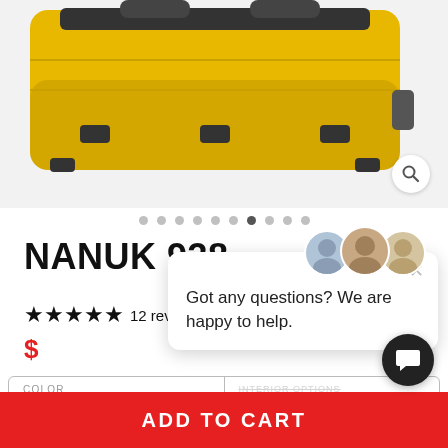[Figure (photo): Yellow NANUK 938 hard case with black handles and latches, partially cropped at top]
NANUK 938
938S-000YL-0A0
★★★★★ 12 reviews
$ (price partially obscured)
COLOR: Yellow
INTERIOR OPTIONS: Empty
Got any questions? We are happy to help.
ADD TO CART